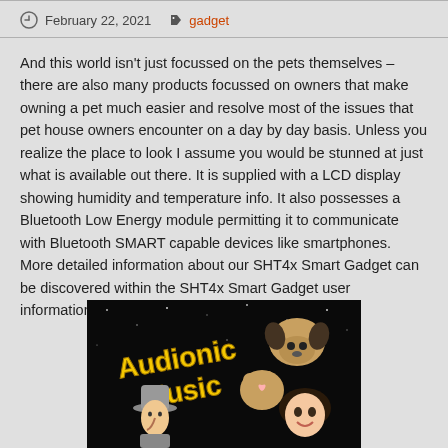February 22, 2021   gadget
And this world isn't just focussed on the pets themselves – there are also many products focussed on owners that make owning a pet much easier and resolve most of the issues that pet house owners encounter on a day by day basis. Unless you realize the place to look I assume you would be stunned at just what is available out there. It is supplied with a LCD display showing humidity and temperature info. It also possesses a Bluetooth Low Energy module permitting it to communicate with Bluetooth SMART capable devices like smartphones. More detailed information about our SHT4x Smart Gadget can be discovered within the SHT4x Smart Gadget user information.
[Figure (illustration): Cartoon illustration with 'Audionic Music' text in yellow on a dark/black starry background. Shows animated characters including a detective-style figure with grey hat and a pug dog sitting on a person's head.]